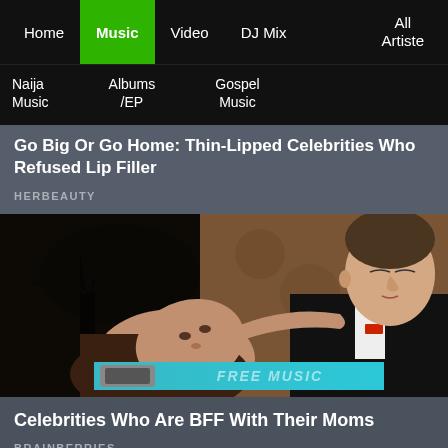Home | Music | Video | DJ Mix | All Artiste
Naija Music | Albums /EP | Gospel Music
Go Big Or Go Home: Thin-Lipped Celebrities Who Refused Lip Filler
HERBEAUTY
[Figure (photo): Two people in formal attire, a woman looking up at a man in a tuxedo, with a FREE MUSIC banner overlay at the bottom]
Celebrities Who Are BFF With Their Moms
BRAINBERRIES